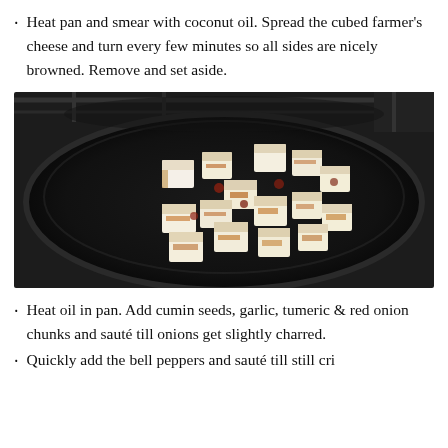Heat pan and smear with coconut oil. Spread the cubed farmer's cheese and turn every few minutes so all sides are nicely browned. Remove and set aside.
[Figure (photo): A cast iron pan on a stovetop containing golden-brown cubed farmer's cheese pieces, some showing reddish-brown charred sides, spread across the dark pan surface.]
Heat oil in pan. Add cumin seeds, garlic, tumeric & red onion chunks and sauté till onions get slightly charred.
Quickly add the bell peppers and sauté till still cris…